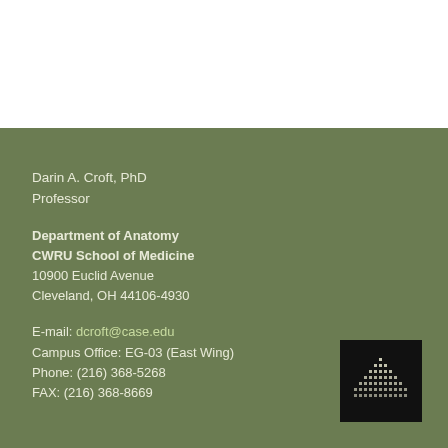Darin A. Croft, PhD
Professor
Department of Anatomy
CWRU School of Medicine
10900 Euclid Avenue
Cleveland, OH 44106-4930
E-mail: dcroft@case.edu
Campus Office: EG-03 (East Wing)
Phone: (216) 368-5268
FAX: (216) 368-8669
[Figure (logo): CWRU or institutional logo — dark square with white dot-matrix triangle/pyramid pattern]